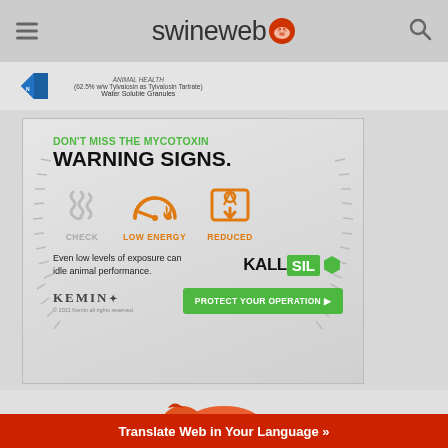swineweb
[Figure (screenshot): Partial animal health product label showing text: (62.5% w/w Tylvalosin as Tylvalosin Tartrate) Water Soluble Granules]
[Figure (infographic): Kemin KALLSIL advertisement: DON'T MISS THE MYCOTOXIN WARNING SIGNS. Icons for CHECK (gut), LOW ENERGY (gauge), REDUCED (scale). Text: Even low levels of exposure can idle animal performance. KALLSIL logo. PROTECT YOUR OPERATION button. Kemin logo. © 2021 Kemin all rights reserved.]
[Figure (infographic): Partial image of an orange pig/piglet icon at the bottom of the page]
Translate Web in Your Language »